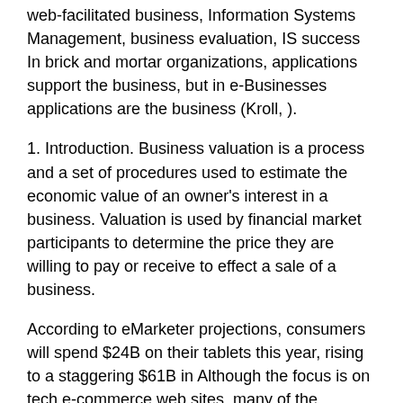web-facilitated business, Information Systems Management, business evaluation, IS success In brick and mortar organizations, applications support the business, but in e-Businesses applications are the business (Kroll, ).
1. Introduction. Business valuation is a process and a set of procedures used to estimate the economic value of an owner's interest in a business. Valuation is used by financial market participants to determine the price they are willing to pay or receive to effect a sale of a business.
According to eMarketer projections, consumers will spend $24B on their tablets this year, rising to a staggering $61B in Although the focus is on tech e-commerce web sites, many of the findings from this research are relevant to any consumer-oriented e-commerce web site.
Enter information below for a FREE comprehensive website